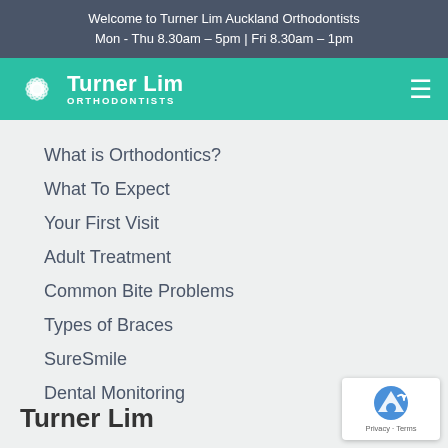Welcome to Turner Lim Auckland Orthodontists
Mon - Thu 8.30am – 5pm | Fri 8.30am – 1pm
[Figure (logo): Turner Lim Orthodontists logo with sunflower/starburst icon and navigation hamburger menu on teal background]
What is Orthodontics?
What To Expect
Your First Visit
Adult Treatment
Common Bite Problems
Types of Braces
SureSmile
Dental Monitoring
Turner Lim
[Figure (other): Google reCAPTCHA badge with Privacy and Terms links]